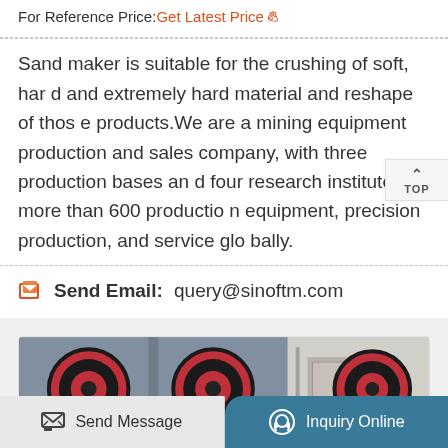For Reference Price: Get Latest Price
Sand maker is suitable for the crushing of soft, hard and extremely hard material and reshape of those products.We are a mining equipment production and sales company, with three production bases and four research institutes, more than 600 production equipment, precision production, and service globally.
Send Email: query@sinoftm.com
[Figure (photo): Industrial machinery with large red and black circular wheels/rollers, manufacturing equipment in a factory setting.]
Send Message
Inquiry Online